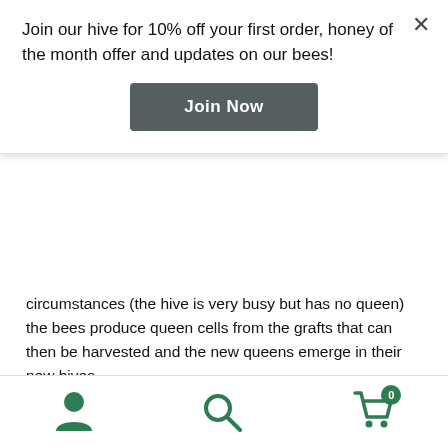Join our hive for 10% off your first order, honey of the month offer and updates on our bees!
Join Now
circumstances (the hive is very busy but has no queen) the bees produce queen cells from the grafts that can then be harvested and the new queens emerge in their new hives.
To help this process run smoothly, as we only have a limited amount of queen rearing kit that goes in the hive, we bring the capped (8 day old) queen cells inside and place them in a chicken incubator, with a constant 'hive' temperature and a high humidity the queens hatch out and